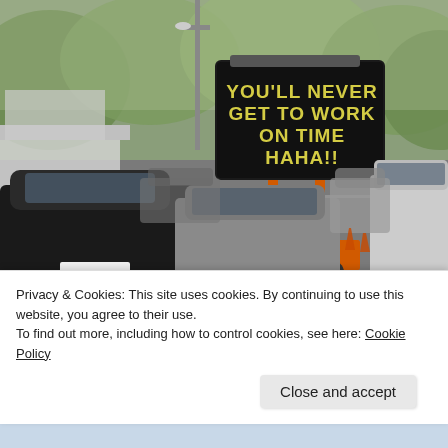[Figure (photo): A road construction scene with traffic backed up. In the center is an orange electronic road sign on a trailer displaying the text 'YOU'LL NEVER GET TO WORK ON TIME HAHA!!' in yellow dot-matrix letters. Orange traffic cones line the road. Various cars and trucks are visible in traffic. Trees are visible in the background.]
Privacy & Cookies: This site uses cookies. By continuing to use this website, you agree to their use.
To find out more, including how to control cookies, see here: Cookie Policy
Close and accept